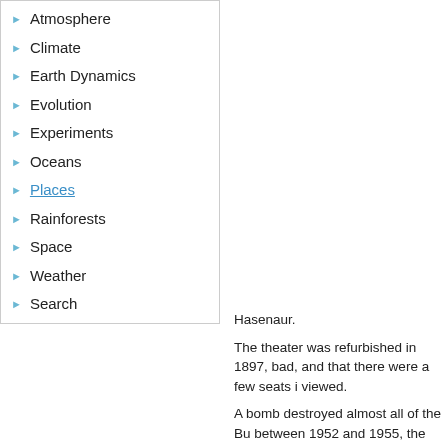Atmosphere
Climate
Earth Dynamics
Evolution
Experiments
Oceans
Places
Rainforests
Space
Weather
Search
Hasenaur.
The theater was refurbished in 1897, bad, and that there were a few seats i viewed.
A bomb destroyed almost all of the Bu between 1952 and 1955, the theater r how severe the damage was.
The Burgtheater is known for its beau hosts.